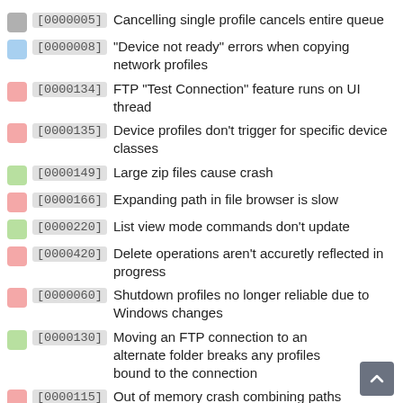[0000005] Cancelling single profile cancels entire queue
[0000008] "Device not ready" errors when copying network profiles
[0000134] FTP "Test Connection" feature runs on UI thread
[0000135] Device profiles don't trigger for specific device classes
[0000149] Large zip files cause crash
[0000166] Expanding path in file browser is slow
[0000220] List view mode commands don't update
[0000420] Delete operations aren't accuretly reflected in progress
[0000060] Shutdown profiles no longer reliable due to Windows changes
[0000130] Moving an FTP connection to an alternate folder breaks any profiles bound to the connection
[0000115] Out of memory crash combining paths